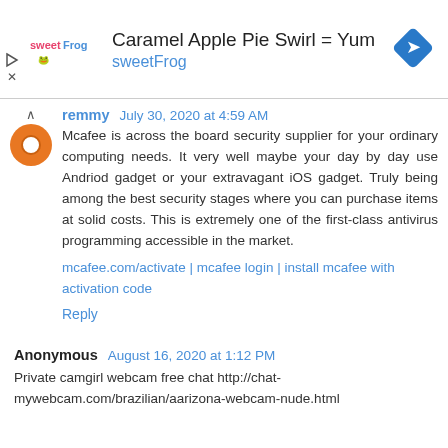[Figure (other): SweetFrog advertisement banner with logo, title 'Caramel Apple Pie Swirl = Yum', brand name 'sweetFrog', and a blue navigation arrow icon]
remmy July 30, 2020 at 4:59 AM

Mcafee is across the board security supplier for your ordinary computing needs. It very well maybe your day by day use Andriod gadget or your extravagant iOS gadget. Truly being among the best security stages where you can purchase items at solid costs. This is extremely one of the first-class antivirus programming accessible in the market.
mcafee.com/activate | mcafee login | install mcafee with activation code

Reply
Anonymous August 16, 2020 at 1:12 PM

Private camgirl webcam free chat http://chat-mywebcam.com/brazilian/aarizona-webcam-nude.html